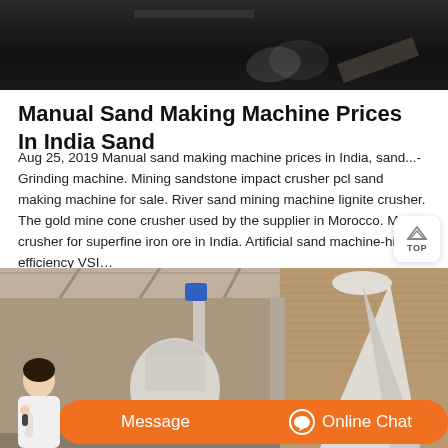[Figure (photo): Dark industrial scene, top portion of image showing machinery or industrial equipment in low light]
Manual Sand Making Machine Prices In India Sand
Aug 25, 2019 Manual sand making machine prices in India, sand...- Grinding machine. Mining sandstone impact crusher pcl sand making machine for sale. River sand mining machine lignite crusher. The gold mine cone crusher used by the supplier in Morocco. Mobile crusher for superfine iron ore in India. Artificial sand machine-high efficiency VSI…
[Figure (photo): Industrial sand making machinery inside a warehouse or factory, showing a large white conical separator/cyclone on the right and a grinding mill on the left, with brick walls and metal framework visible]